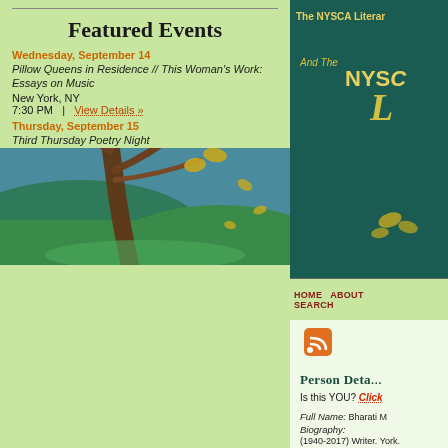[Figure (illustration): Illustration of a large tree with yellow-green autumn leaves against a blue-green sky, painted/drawn art style]
The NYSCA Literary
And The NYSC
L
HOME   ABOUT   SEARCH
[Figure (other): RSS feed orange icon]
Person Details
Is this YOU? Click
Full Name: Bharati M
Biography:
(1940-2017) Writer. York.
1940 (Unknown) C
Featured Events
Wednesday, September 14
Pillow Queens in Residence // This Woman's Work: Essays on Music
New York, NY
7:30 PM  |  View Details »
Thursday, September 15
Third Thursday Poetry Night